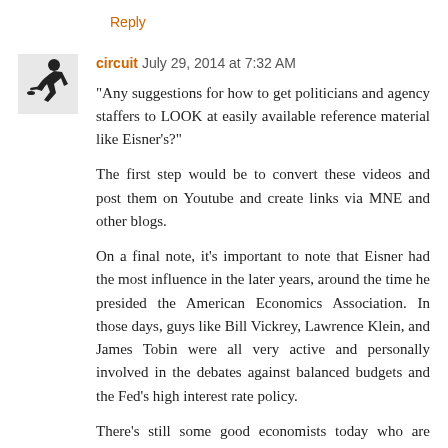Reply
circuit  July 29, 2014 at 7:32 AM
"Any suggestions for how to get politicians and agency staffers to LOOK at easily available reference material like Eisner's?"
The first step would be to convert these videos and post them on Youtube and create links via MNE and other blogs.
On a final note, it's important to note that Eisner had the most influence in the later years, around the time he presided the American Economics Association. In those days, guys like Bill Vickrey, Lawrence Klein, and James Tobin were all very active and personally involved in the debates against balanced budgets and the Fed's high interest rate policy.
There's still some good economists today who are active in DC (like James Galbraith and Dean Baker), and it's